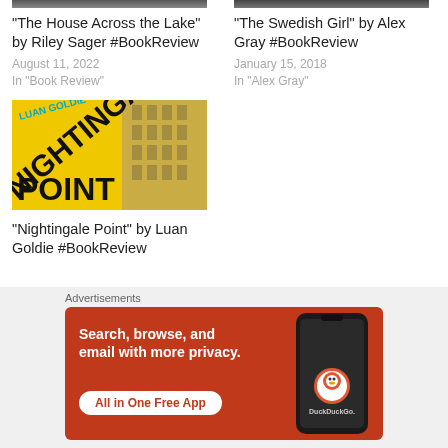[Figure (photo): Cropped top of book cover image (left column, partially visible)]
"The House Across the Lake" by Riley Sager #BookReview
August 11, 2022
In "Book Review"
[Figure (photo): Cropped top of book cover image (right column, partially visible)]
"The Swedish Girl" by Alex Gray #BookReview
January 15, 2018
In "Alex Gray"
[Figure (photo): Book cover of Nightingale Point by Luan Goldie - yellow cover with bold black text]
"Nightingale Point" by Luan Goldie #BookReview
Advertisements
[Figure (screenshot): DuckDuckGo advertisement banner - orange background with text: Search, browse, and email with more privacy. All in One Free App. Shows phone graphic with DuckDuckGo logo.]